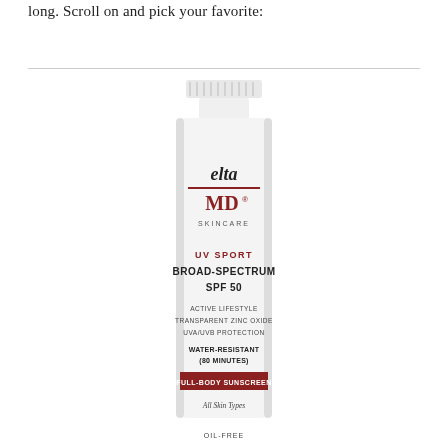long. Scroll on and pick your favorite:
[Figure (photo): EltaMD UV Sport Broad-Spectrum SPF 50 sunscreen tube. White squeeze tube with red accent band. Text on tube: elta MD SKINCARE, UV SPORT, BROAD-SPECTRUM SPF 50, ACTIVE LIFESTYLE, TRANSPARENT ZINC OXIDE, UVA/UVB PROTECTION, WATER-RESISTANT (80 MINUTES), FULL-BODY SUNSCREEN, All Skin Types, OIL-FREE]